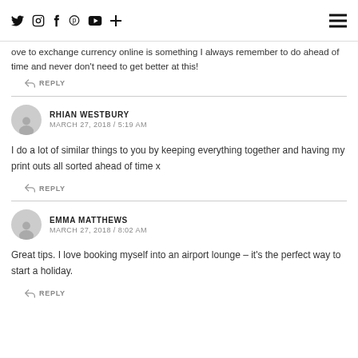Social media icons and navigation menu
ove to exchange currency online is something I always remember to do ahead of time and never don't need to get better at this!
REPLY
RHIAN WESTBURY
MARCH 27, 2018 / 5:19 AM
I do a lot of similar things to you by keeping everything together and having my print outs all sorted ahead of time x
REPLY
EMMA MATTHEWS
MARCH 27, 2018 / 8:02 AM
Great tips. I love booking myself into an airport lounge – it's the perfect way to start a holiday.
REPLY